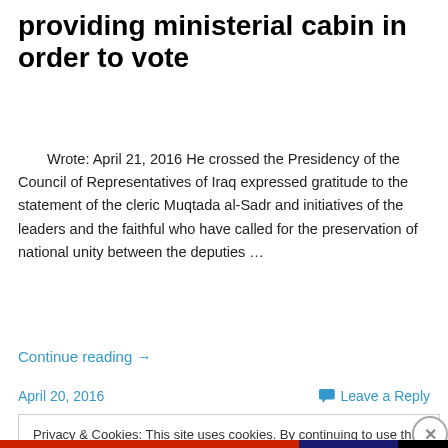providing ministerial cabin in order to vote
Wrote: April 21, 2016 He crossed the Presidency of the Council of Representatives of Iraq expressed gratitude to the statement of the cleric Muqtada al-Sadr and initiatives of the leaders and the faithful who have called for the preservation of national unity between the deputies …
Continue reading →
April 20, 2016
Leave a Reply
Privacy & Cookies: This site uses cookies. By continuing to use this website, you agree to their use.
To find out more, including how to control cookies, see here: Cookie Policy
Close and accept